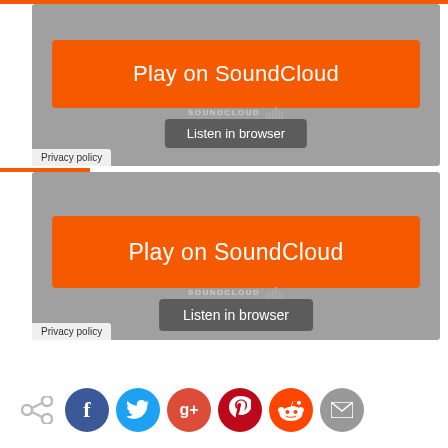[Figure (screenshot): SoundCloud player widget with orange 'Play on SoundCloud' button, gray 'Listen in browser' button with SoundCloud logo, and 'Privacy policy' link at bottom left]
[Figure (screenshot): Second SoundCloud player widget with orange 'Play on SoundCloud' button, gray 'Listen in browser' button with SoundCloud logo, and 'Privacy policy' link at bottom left]
[Figure (infographic): Social share icons row: share icon, Facebook (blue), Twitter (light blue), Google+ (red), Pinterest (dark red), Reddit (orange), Email (gray)]